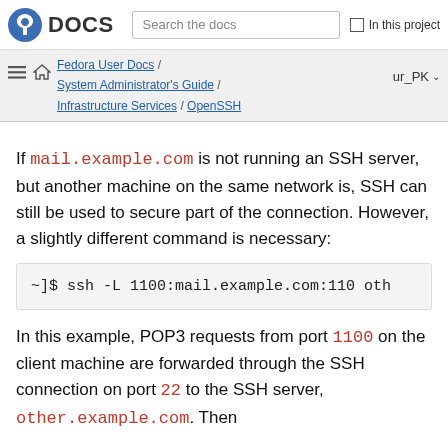DOCS | Search the docs | In this project
Fedora User Docs / System Administrator's Guide / Infrastructure Services / OpenSSH | ur_PK
If mail.example.com is not running an SSH server, but another machine on the same network is, SSH can still be used to secure part of the connection. However, a slightly different command is necessary:
~]$ ssh -L 1100:mail.example.com:110 oth
In this example, POP3 requests from port 1100 on the client machine are forwarded through the SSH connection on port 22 to the SSH server, other.example.com. Then